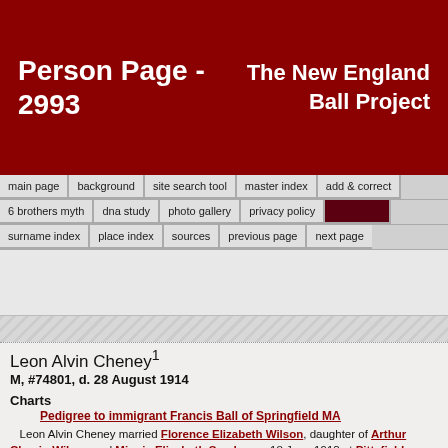Person Page - 2993 | The New England Ball Project
main page
background
site search tool
master index
add & correct
6 brothers myth
dna study
photo gallery
privacy policy
surname index
place index
sources
previous page
next page
Leon Alvin Cheney1
M, #74801, d. 28 August 1914
Charts
Pedigree to immigrant Francis Ball of Springfield MA
Leon Alvin Cheney married Florence Elizabeth Wilson, daughter of Arthur Chapin Wilson and Minnie Elizabeth Snyder, on 18 June 1913 at Pittsfield, Berkshire Co., MA.1 Leon Alvin Cheney died on 28 August 1914 at Pittsfield, Berkshire Co., MA.1